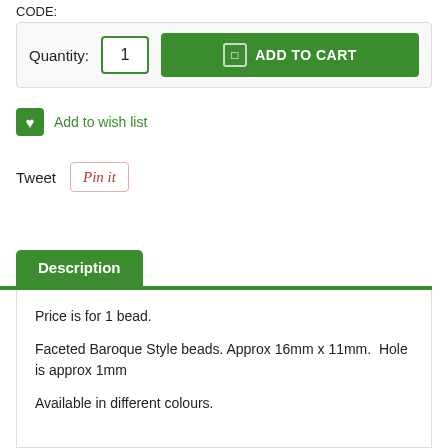CODE:
[Figure (screenshot): E-commerce product page UI showing quantity input field with value 1 and a green ADD TO CART button]
Add to wish list
Tweet
[Figure (screenshot): Pinterest Pin it button]
Description
Price is for 1 bead.

Faceted Baroque Style beads. Approx 16mm x 11mm.  Hole is approx 1mm

Available in different colours.